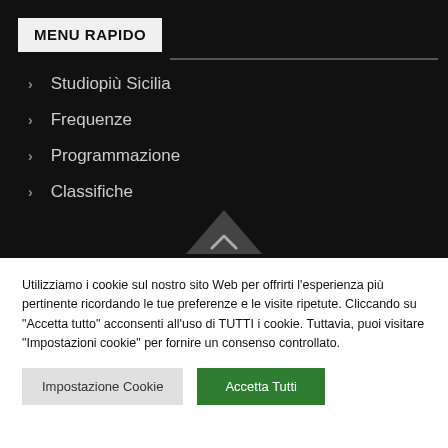MENU RAPIDO
Studiopiù Sicilia
Frequenze
Programmazione
Classifiche
Utilizziamo i cookie sul nostro sito Web per offrirti l'esperienza più pertinente ricordando le tue preferenze e le visite ripetute. Cliccando su "Accetta tutto" acconsenti all'uso di TUTTI i cookie. Tuttavia, puoi visitare "Impostazioni cookie" per fornire un consenso controllato.
Impostazione Cookie | Accetta Tutti